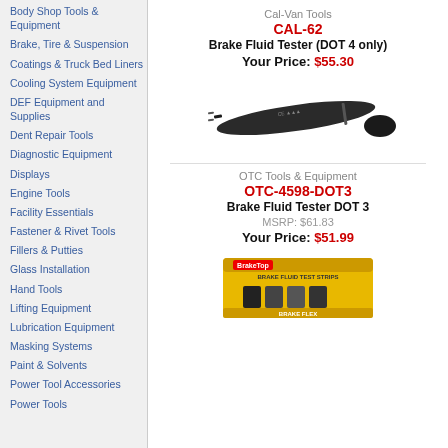Body Shop Tools & Equipment
Brake, Tire & Suspension
Coatings & Truck Bed Liners
Cooling System Equipment
DEF Equipment and Supplies
Dent Repair Tools
Diagnostic Equipment
Displays
Engine Tools
Facility Essentials
Fastener & Rivet Tools
Fillers & Putties
Glass Installation
Hand Tools
Lifting Equipment
Lubrication Equipment
Masking Systems
Paint & Solvents
Power Tool Accessories
Power Tools
Cal-Van Tools
CAL-62
Brake Fluid Tester (DOT 4 only)
Your Price: $55.30
[Figure (photo): Brake fluid tester pen tool (Cal-Van CAL-62), a dark handheld electronic pen-style tester with cap removed]
OTC Tools & Equipment
OTC-4598-DOT3
Brake Fluid Tester DOT 3
MSRP: $61.83
Your Price: $51.99
[Figure (photo): Brake fluid test kit box (BrakeTop brand), yellow packaging with brake fluid test strips]